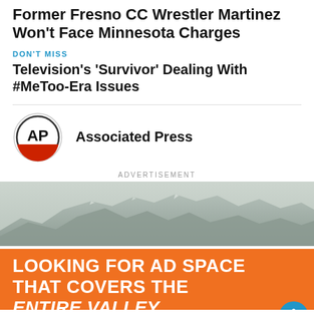Former Fresno CC Wrestler Martinez Won't Face Minnesota Charges
DON'T MISS
Television's 'Survivor' Dealing With #MeToo-Era Issues
Associated Press
[Figure (infographic): Advertisement banner with mountain landscape photo at top and orange background with text: LOOKING FOR AD SPACE THAT COVERS THE ENTIRE VALLEY... OVER 172,960 AVERAGE MONTHLY PAGE]